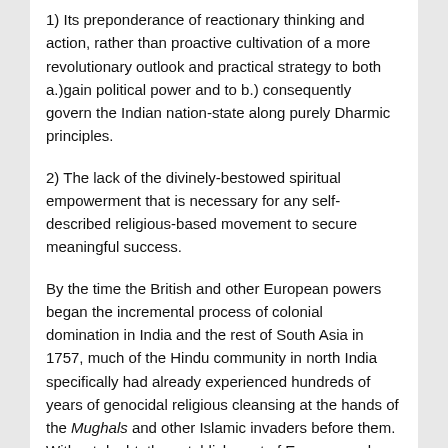1) Its preponderance of reactionary thinking and action, rather than proactive cultivation of a more revolutionary outlook and practical strategy to both a.)gain political power and to b.) consequently govern the Indian nation-state along purely Dharmic principles.
2) The lack of the divinely-bestowed spiritual empowerment that is necessary for any self-described religious-based movement to secure meaningful success.
By the time the British and other European powers began the incremental process of colonial domination in India and the rest of South Asia in 1757, much of the Hindu community in north India specifically had already experienced hundreds of years of genocidal religious cleansing at the hands of the Mughals and other Islamic invaders before them. Without doubt, the establishment of European rule over India directly saved Hinduism (and, arguably, much of Vedic spiritual culture that served as the ancient basis of the later phenomenon of “Hinduism”) from inexorable extinction at the hands of Islam.  If the British